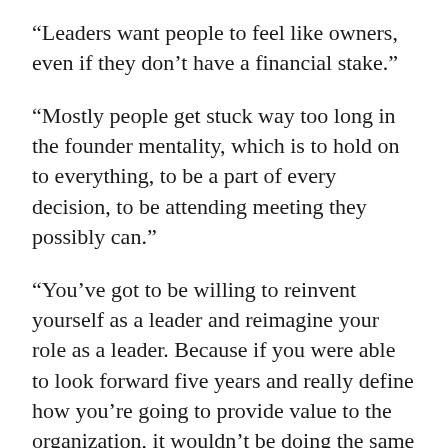“Leaders want people to feel like owners, even if they don’t have a financial stake.”
“Mostly people get stuck way too long in the founder mentality, which is to hold on to everything, to be a part of every decision, to be attending meeting they possibly can.”
“You’ve got to be willing to reinvent yourself as a leader and reimagine your role as a leader. Because if you were able to look forward five years and really define how you’re going to provide value to the organization, it wouldn’t be doing the same